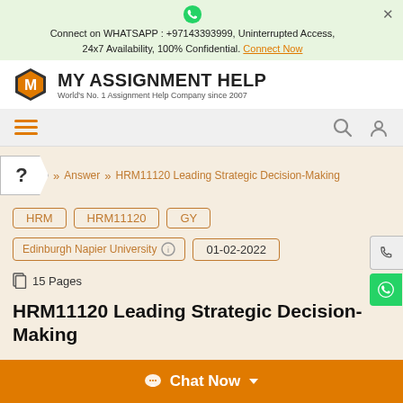Connect on WHATSAPP : +97143393999, Uninterrupted Access, 24x7 Availability, 100% Confidential. Connect Now
[Figure (logo): My Assignment Help logo with orange hexagon M icon and text]
MY ASSIGNMENT HELP
World's No. 1 Assignment Help Company since 2007
Answer >> HRM11120 Leading Strategic Decision-Making
HRM | HRM11120 | GY
Edinburgh Napier University | 01-02-2022
15 Pages
HRM11120 Leading Strategic Decision-Making
Chat Now